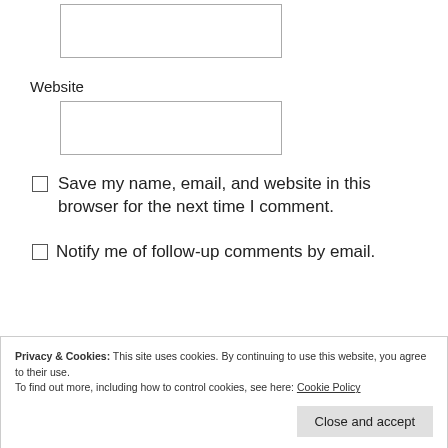[Figure (screenshot): Empty text input box at the top of the page]
Website
[Figure (screenshot): Empty text input box for Website field]
Save my name, email, and website in this browser for the next time I comment.
Notify me of follow-up comments by email.
Privacy & Cookies: This site uses cookies. By continuing to use this website, you agree to their use. To find out more, including how to control cookies, see here: Cookie Policy
Close and accept